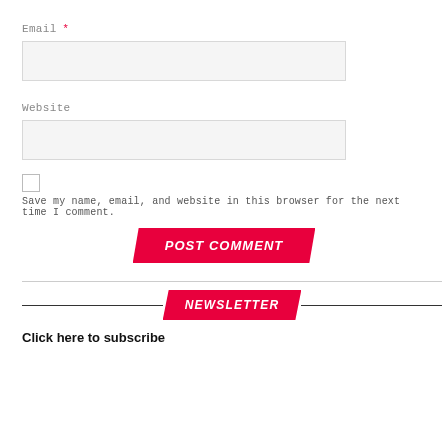Email *
[Figure (other): Email input text field, light gray background]
Website
[Figure (other): Website input text field, light gray background]
Save my name, email, and website in this browser for the next time I comment.
POST COMMENT
NEWSLETTER
Click here to subscribe